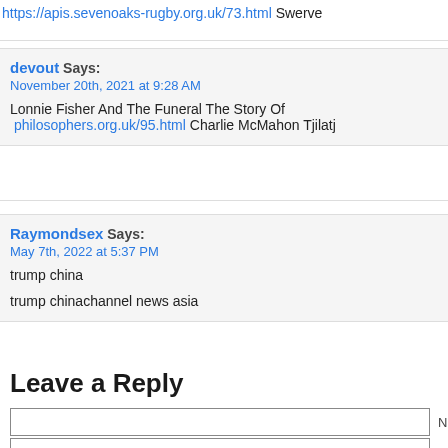https://apis.sevenoaks-rugby.org.uk/73.html Swerve
devout Says:
November 20th, 2021 at 9:28 AM
Lonnie Fisher And The Funeral The Story Of philosophers.org.uk/95.html Charlie McMahon Tjilatj
Raymondsex Says:
May 7th, 2022 at 5:37 PM
trump china
trump chinachannel news asia
Leave a Reply
Name (required)
Mail (will not be)
Website